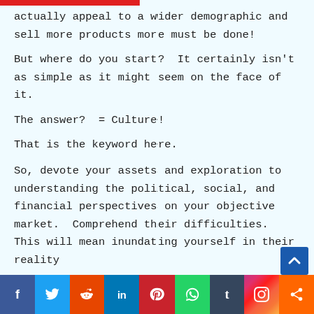actually appeal to a wider demographic and sell more products more must be done!
But where do you start?  It certainly isn't as simple as it might seem on the face of it.
The answer?  = Culture!
That is the keyword here.
So, devote your assets and exploration to understanding the political, social, and financial perspectives on your objective market.  Comprehend their difficulties. This will mean inundating yourself in their reality